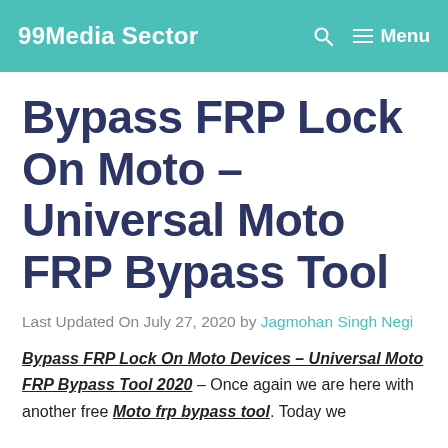99Media Sector   🔍   ☰ Menu
Bypass FRP Lock On Moto – Universal Moto FRP Bypass Tool
Last Updated On July 27, 2020 by Jagmohan Singh Negi
Bypass FRP Lock On Moto Devices – Universal Moto FRP Bypass Tool 2020 – Once again we are here with another free Moto frp bypass tool. Today we